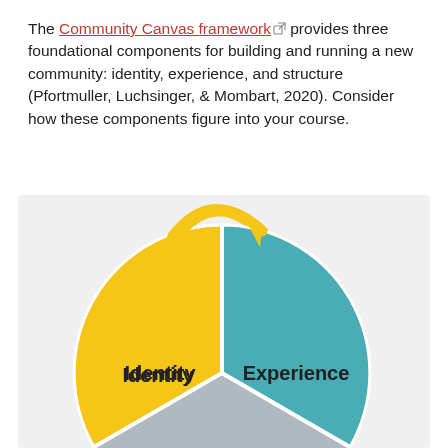The Community Canvas framework provides three foundational components for building and running a new community: identity, experience, and structure (Pfortmuller, Luchsinger, & Mombart, 2020). Consider how these components figure into your course.
[Figure (pie-chart): Pie chart showing three components of the Community Canvas framework: Identity (yellow, left segment), Experience (teal, right segment), and a third partially visible segment (gray, bottom). A yellow circular arrow curves over the top of the chart.]